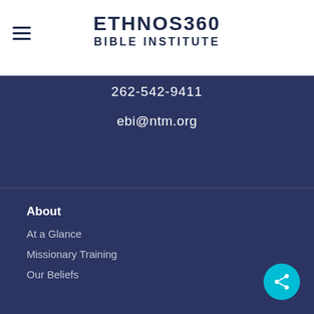[Figure (logo): Ethnos360 Bible Institute logo with hamburger menu icon on the left]
262-542-9411
ebi@ntm.org
About
At a Glance
Missionary Training
Our Beliefs
Academics
Program Overview